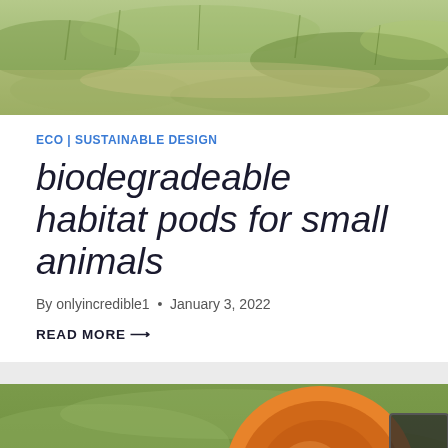[Figure (photo): Top portion of an outdoor grass/field photo, cropped]
ECO | SUSTAINABLE DESIGN
biodegradeable habitat pods for small animals
By onlyincredible1 • January 3, 2022
READ MORE →
[Figure (photo): Bottom photo showing a red checkered blanket/cloth and an orange bowl/frisbee on grass, with a Manage consent button overlay and scroll-up arrow button]